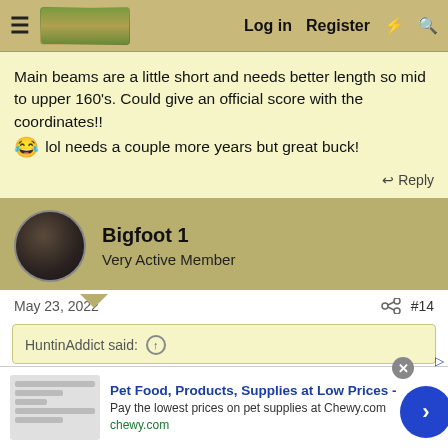Log in  Register
Main beams are a little short and needs better length so mid to upper 160's. Could give an official score with the coordinates!! 😂 lol needs a couple more years but great buck!
↩ Reply
Bigfoot 1
Very Active Member
May 23, 2022  #14
HuntinAddict said: ↑
[Figure (infographic): Advertisement banner: Pet Food, Products, Supplies at Low Prices - Pay the lowest prices on pet supplies at Chewy.com. chewy.com]